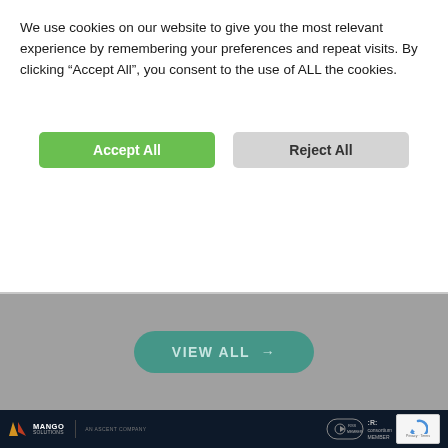We use cookies on our website to give you the most relevant experience by remembering your preferences and repeat visits. By clicking “Accept All”, you consent to the use of ALL the cookies.
[Figure (screenshot): Cookie consent banner with Accept All (green) and Reject All (grey) buttons]
[Figure (screenshot): Grey background section with a teal rounded VIEW ALL → button in the center]
[Figure (screenshot): Dark navy footer with Mango Solutions / AN ASCENT COMPANY logo, RSS badge, R consortium member badge, reCAPTCHA widget, and Privacy - Terms text]